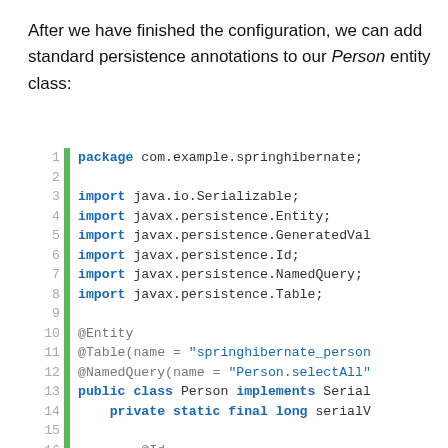After we have finished the configuration, we can add standard persistence annotations to our Person entity class:
[Figure (screenshot): Java code block showing a Person entity class with JPA annotations, lines 1-20, with line numbers and a green gutter bar on the left.]